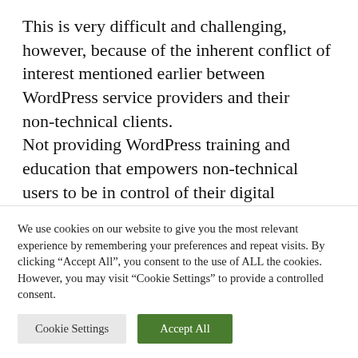This is very difficult and challenging, however, because of the inherent conflict of interest mentioned earlier between WordPress service providers and their non-technical clients.
Not providing WordPress training and education that empowers non-technical users to be in control of their digital vehicles, however, will have a serious impact on the [continues below]
We use cookies on our website to give you the most relevant experience by remembering your preferences and repeat visits. By clicking "Accept All", you consent to the use of ALL the cookies. However, you may visit "Cookie Settings" to provide a controlled consent.